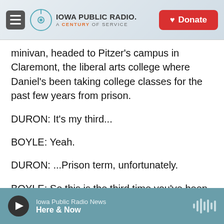Iowa Public Radio — A Century of Service | Donate
minivan, headed to Pitzer's campus in Claremont, the liberal arts college where Daniel's been taking college classes for the past few years from prison.
DURON: It's my third...
BOYLE: Yeah.
DURON: ...Prison term, unfortunately.
BOYLE: So this is the third time you've been released.
DURON: Yeah.
Iowa Public Radio News — Here & Now